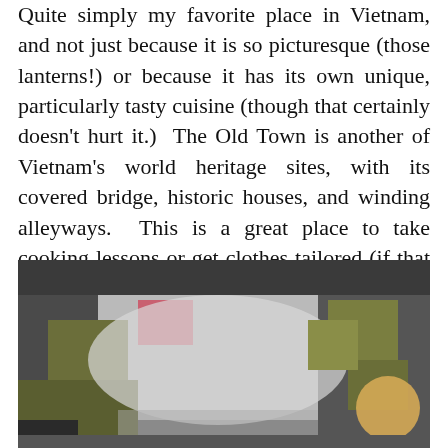Quite simply my favorite place in Vietnam, and not just because it is so picturesque (those lanterns!) or because it has its own unique, particularly tasty cuisine (though that certainly doesn't hurt it.)  The Old Town is another of Vietnam's world heritage sites, with its covered bridge, historic houses, and winding alleyways.  This is a great place to take cooking lessons or get clothes tailored (if that suits you, no pun intended!) Don't miss the cao lao or white rose dishes, which are both unique eats to the town.
[Figure (photo): A blurry/pixelated outdoor photo, likely of a street or lantern scene in Hoi An, Vietnam. The image shows muted tones of grey, olive green, and a small pink/red element in the upper left area, with a golden circular shape (possibly a lantern) in the lower right.]